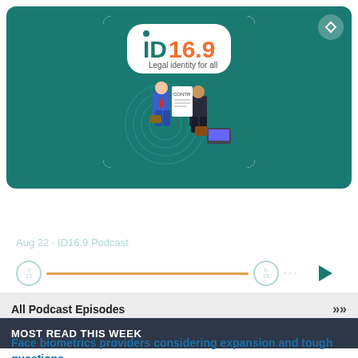[Figure (illustration): Podcast player card with teal background showing ID16.9 podcast artwork featuring two businessmen exchanging a contract document, with logo 'ID 16.9 Legal identity for all' at top. Player controls show rewind, progress bar, forward, dots menu, and play button.]
he private sector wants a stake in lega
Aug 22 · ID16.9 Podcast
All Podcast Episodes
MOST READ THIS WEEK
Face biometrics providers considering expansion and tough questions